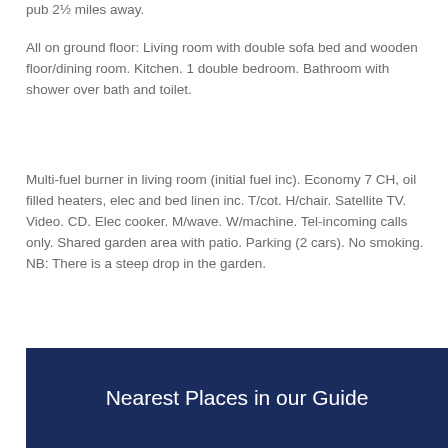pub 2½ miles away.
All on ground floor: Living room with double sofa bed and wooden floor/dining room. Kitchen. 1 double bedroom. Bathroom with shower over bath and toilet.
Multi-fuel burner in living room (initial fuel inc). Economy 7 CH, oil filled heaters, elec and bed linen inc. T/cot. H/chair. Satellite TV. Video. CD. Elec cooker. M/wave. W/machine. Tel-incoming calls only. Shared garden area with patio. Parking (2 cars). No smoking. NB: There is a steep drop in the garden.
Nearest Places in our Guide